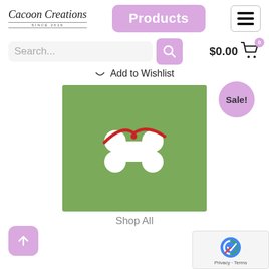[Figure (logo): Cacoon Creations cursive logo with 'SINCE 2019' text below]
Products
[Figure (other): Hamburger menu icon (three horizontal lines) in a rounded rectangle]
[Figure (other): Search bar with magnifying glass icon on purple background]
$0.00
[Figure (other): Shopping cart icon with badge showing 0]
Add to Wishlist
[Figure (photo): White bone-shaped dog tag with red cord/ribbon on green background]
Sale!
Shop All
[Figure (other): Back to top arrow button (purple rounded square with up arrow)]
[Figure (other): Google reCAPTCHA widget showing logo, Privacy and Terms links]